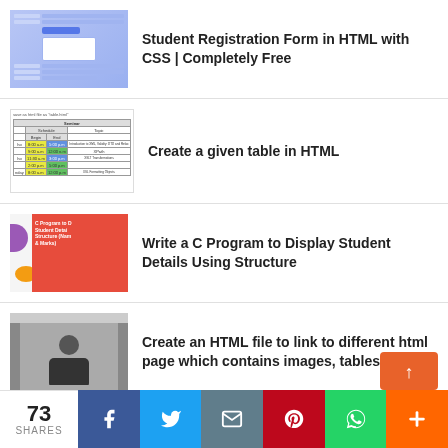Student Registration Form in HTML with CSS | Completely Free
Create a given table in HTML
Write a C Program to Display Student Details Using Structure
Create an HTML file to link to different html page which contains images, tables.
73
SHARES